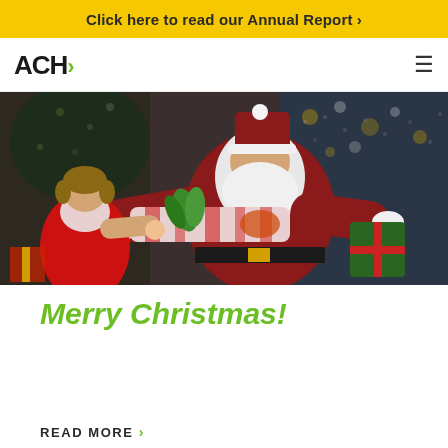Click here to read our Annual Report ›
[Figure (logo): ACH logo with green H and arrow]
[Figure (photo): A young girl in a red dress receiving a gift from Santa Claus in front of a Christmas tree with lights and decorations]
Merry Christmas!
READ MORE ›